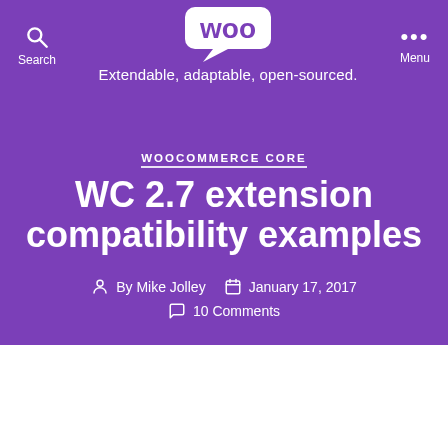Search | Woo – Extendable, adaptable, open-sourced. | Menu
WOOCOMMERCE CORE
WC 2.7 extension compatibility examples
By Mike Jolley · January 17, 2017 · 10 Comments
Our team have been looking at updating some of our